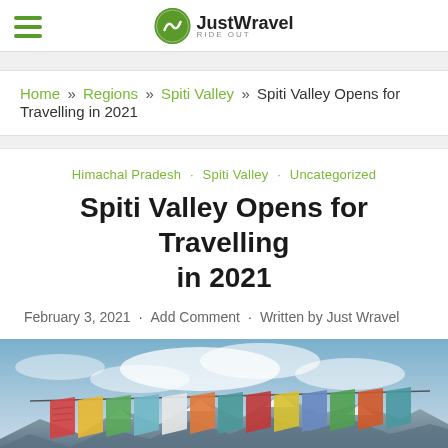Just Wravel — navigation header with hamburger menu and logo
Home » Regions » Spiti Valley » Spiti Valley Opens for Travelling in 2021
Himachal Pradesh · Spiti Valley · Uncategorized
Spiti Valley Opens for Travelling in 2021
February 3, 2021 · Add Comment · Written by Just Wravel
[Figure (photo): Colorful Tibetan Buddhist prayer flags blowing in the wind against a blue sky with snowy mountain peaks below]